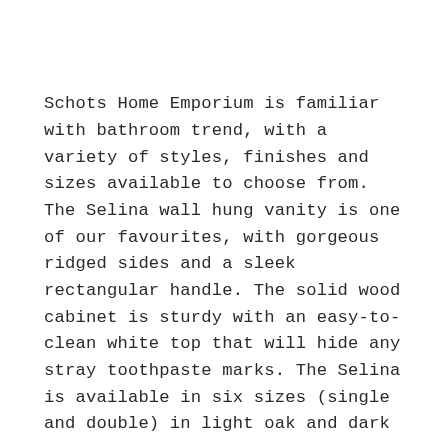Schots Home Emporium is familiar with bathroom trend, with a variety of styles, finishes and sizes available to choose from. The Selina wall hung vanity is one of our favourites, with gorgeous ridged sides and a sleek rectangular handle. The solid wood cabinet is sturdy with an easy-to-clean white top that will hide any stray toothpaste marks. The Selina is available in six sizes (single and double) in light oak and dark